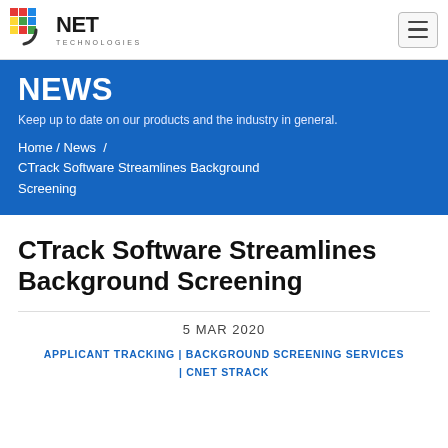[Figure (logo): CNET Technologies logo with colorful pixel grid and circular arc]
Navigation bar with CNET Technologies logo and hamburger menu
NEWS
Keep up to date on our products and the industry in general.
Home / News / CTrack Software Streamlines Background Screening
CTrack Software Streamlines Background Screening
5 MAR 2020
APPLICANT TRACKING | BACKGROUND SCREENING SERVICES | CNET STRACK